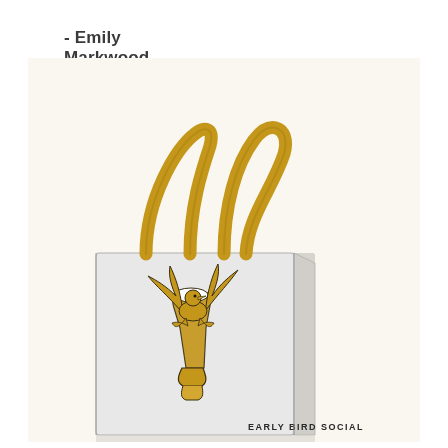- Emily Markwood
[Figure (photo): A white/grey translucent tote bag with mustard-yellow handles. On the front of the bag is a printed illustration of a bird (early bird) perching on top of a tall glass of beer, with wings spread. Text at the bottom right of the bag reads 'EARLY BIRD SOCIAL'.]